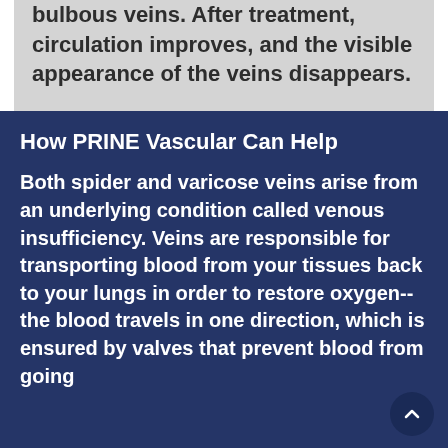bulbous veins. After treatment, circulation improves, and the visible appearance of the veins disappears.
How PRINE Vascular Can Help
Both spider and varicose veins arise from an underlying condition called venous insufficiency. Veins are responsible for transporting blood from your tissues back to your lungs in order to restore oxygen--the blood travels in one direction, which is ensured by valves that prevent blood from going